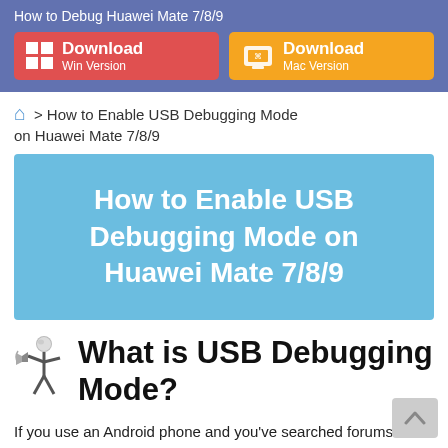How to Debug Huawei Mate 7/8/9
[Figure (screenshot): Download buttons: Win Version (red) and Mac Version (orange) on a blue-purple banner]
> How to Enable USB Debugging Mode on Huawei Mate 7/8/9
[Figure (infographic): Blue banner with white text: How to Enable USB Debugging Mode on Huawei Mate 7/8/9]
What is USB Debugging Mode?
If you use an Android phone and you've searched forums for solutions to problems,